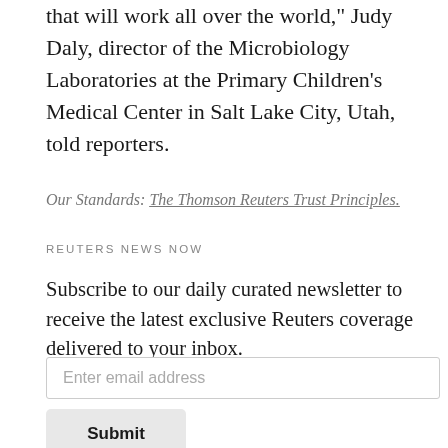that will work all over the world," Judy Daly, director of the Microbiology Laboratories at the Primary Children's Medical Center in Salt Lake City, Utah, told reporters.
Our Standards: The Thomson Reuters Trust Principles.
REUTERS NEWS NOW
Subscribe to our daily curated newsletter to receive the latest exclusive Reuters coverage delivered to your inbox.
Enter email address
Submit